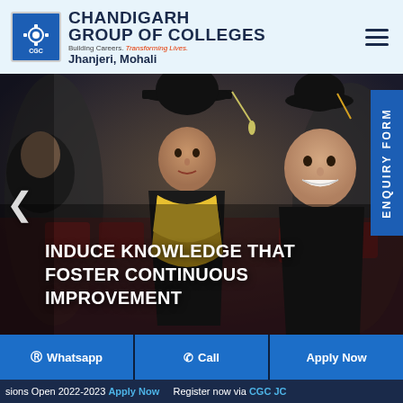[Figure (logo): Chandigarh Group of Colleges logo with CGC icon]
CHANDIGARH GROUP OF COLLEGES
Building Careers. Transforming Lives.
Jhanjeri, Mohali
[Figure (photo): Graduation ceremony photo with students in graduation gowns and caps, with text overlay: INDUCE KNOWLEDGE THAT FOSTER CONTINUOUS IMPROVEMENT]
INDUCE KNOWLEDGE THAT FOSTER CONTINUOUS IMPROVEMENT
ENQUIRY FORM
Whatsapp
Call
Apply Now
sions Open 2022-2023 Apply Now    Register now via CGC JC